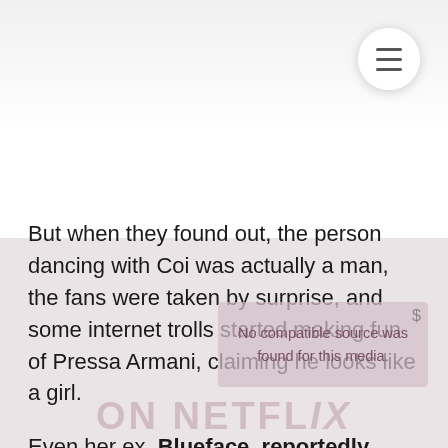[Figure (other): Hamburger menu button (three horizontal lines in a white circle) in the top-right corner of the page]
But when they found out, the person dancing with Coi was actually a man, the fans were taken by surprise, and some internet trolls started making fun of Pressa Armani, claiming he looks like a girl.
Even her ex, Blueface, reportedly joined the online bashing game with series of tweets. Blue on his Twitter account wrote, "Dat n*** look like a b***," followed by an emoji face with tears of joy!